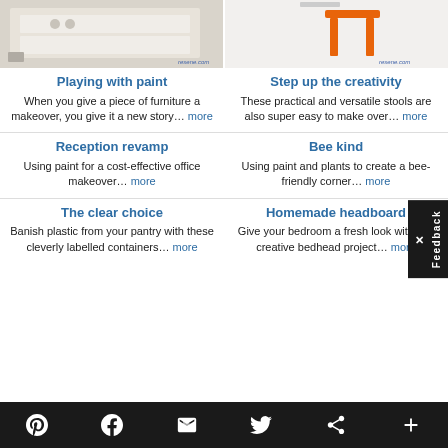[Figure (photo): Photo of white furniture/drawers, resene.com watermark]
[Figure (photo): Photo of orange stool against white background, resene.com watermark]
Playing with paint
When you give a piece of furniture a makeover, you give it a new story... more
Step up the creativity
These practical and versatile stools are also super easy to make over... more
Reception revamp
Using paint for a cost-effective office makeover... more
Bee kind
Using paint and plants to create a bee-friendly corner... more
The clear choice
Banish plastic from your pantry with these cleverly labelled containers... more
Homemade headboard
Give your bedroom a fresh look with this creative bedhead project... more